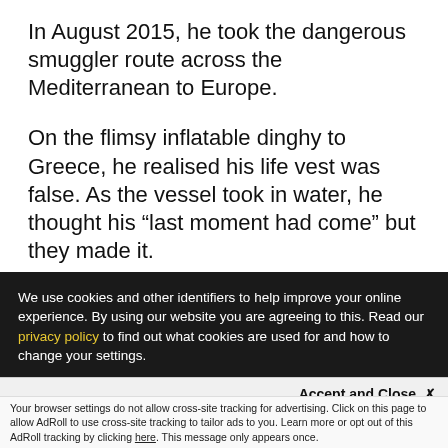In August 2015, he took the dangerous smuggler route across the Mediterranean to Europe.
On the flimsy inflatable dinghy to Greece, he realised his life vest was false. As the vessel took in water, he thought his “last moment had come” but they made it.
We use cookies and other identifiers to help improve your online experience. By using our website you are agreeing to this. Read our privacy policy to find out what cookies are used for and how to change your settings.
Accept and Close ×
Your browser settings do not allow cross-site tracking for advertising. Click on this page to allow AdRoll to use cross-site tracking to tailor ads to you. Learn more or opt out of this AdRoll tracking by clicking here. This message only appears once.